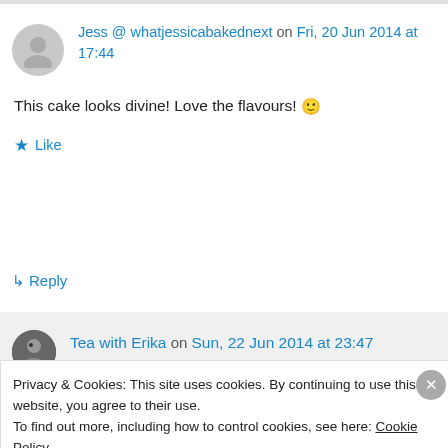Jess @ whatjessicabakednext on Fri, 20 Jun 2014 at 17:44
This cake looks divine! Love the flavours! 🙂
Like
↳ Reply
Tea with Erika on Sun, 22 Jun 2014 at 23:47
Privacy & Cookies: This site uses cookies. By continuing to use this website, you agree to their use.
To find out more, including how to control cookies, see here: Cookie Policy